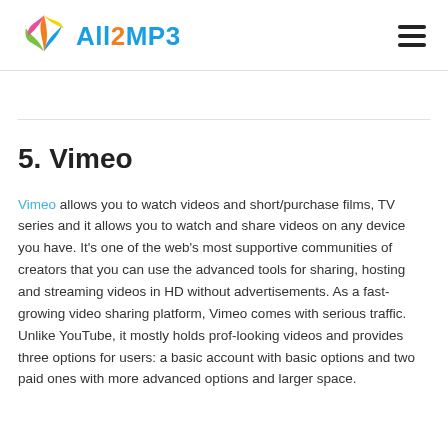[Figure (logo): All2MP3 logo with colorful ribbon/wing shape and blue and orange text]
5. Vimeo
Vimeo allows you to watch videos and short/purchase films, TV series and it allows you to watch and share videos on any device you have. It's one of the web's most supportive communities of creators that you can use the advanced tools for sharing, hosting and streaming videos in HD without advertisements. As a fast-growing video sharing platform, Vimeo comes with serious traffic. Unlike YouTube, it mostly holds prof-looking videos and provides three options for users: a basic account with basic options and two paid ones with more advanced options and larger space.